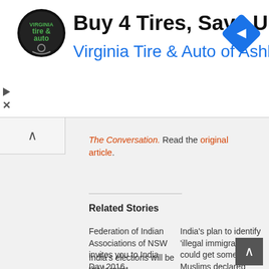[Figure (screenshot): Advertisement banner: tire and auto logo, text 'Buy 4 Tires, Save Up To $110', subline 'Virginia Tire & Auto of Ashburn ...', blue navigation diamond icon on right]
The Conversation. Read the original article.
Related Stories
Federation of Indian Associations of NSW invites you to India Day 2016
July 28, 2016
In "News"
India's plan to identify 'illegal immigrants' could get some Muslims declared 'foreign'
December 9, 2019
In "Opinion"
India's elections will be the largest